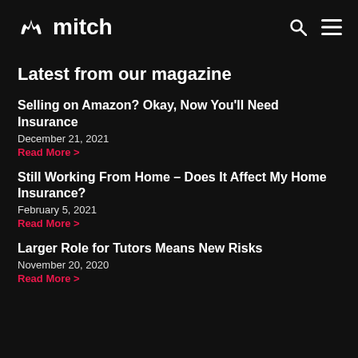mitch
Latest from our magazine
Selling on Amazon? Okay, Now You'll Need Insurance
December 21, 2021
Read More >
Still Working From Home – Does It Affect My Home Insurance?
February 5, 2021
Read More >
Larger Role for Tutors Means New Risks
November 20, 2020
Read More >